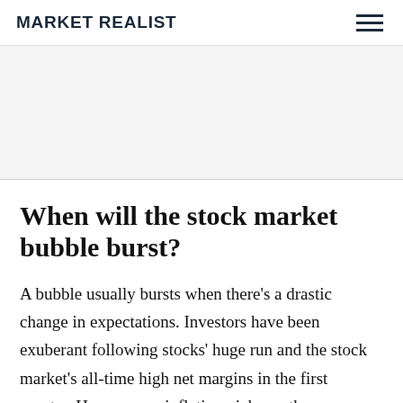MARKET REALIST
[Figure (other): Advertisement banner area, light gray background]
When will the stock market bubble burst?
A bubble usually bursts when there's a drastic change in expectations. Investors have been exuberant following stocks' huge run and the stock market's all-time high net margins in the first quarter. However, as inflation picks up the pace (which it already is) and Fed adjusts its policies